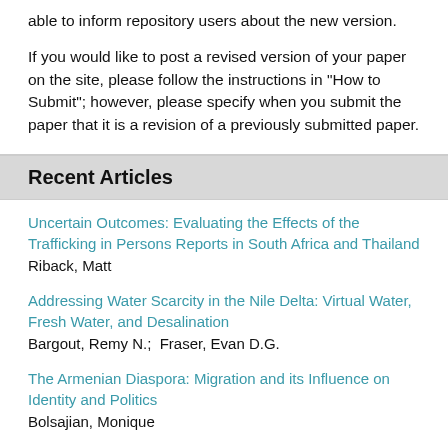able to inform repository users about the new version.
If you would like to post a revised version of your paper on the site, please follow the instructions in "How to Submit"; however, please specify when you submit the paper that it is a revision of a previously submitted paper.
Recent Articles
Uncertain Outcomes: Evaluating the Effects of the Trafficking in Persons Reports in South Africa and Thailand
Riback, Matt
Addressing Water Scarcity in the Nile Delta: Virtual Water, Fresh Water, and Desalination
Bargout, Remy N.;  Fraser, Evan D.G.
The Armenian Diaspora: Migration and its Influence on Identity and Politics
Bolsajian, Monique
Evaluating Cosmopolitanism